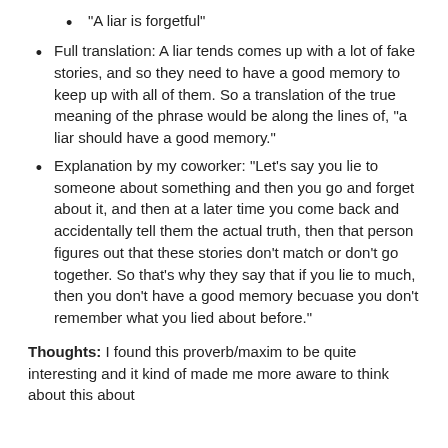“A liar is forgetful”
Full translation: A liar tends comes up with a lot of fake stories, and so they need to have a good memory to keep up with all of them. So a translation of the true meaning of the phrase would be along the lines of, “a liar should have a good memory.”
Explanation by my coworker: “Let’s say you lie to someone about something and then you go and forget about it, and then at a later time you come back and accidentally tell them the actual truth, then that person figures out that these stories don’t match or don’t go together. So that’s why they say that if you lie to much, then you don’t have a good memory becuase you don’t remember what you lied about before.”
Thoughts: I found this proverb/maxim to be quite interesting and it kind of made me more aware to think about this about